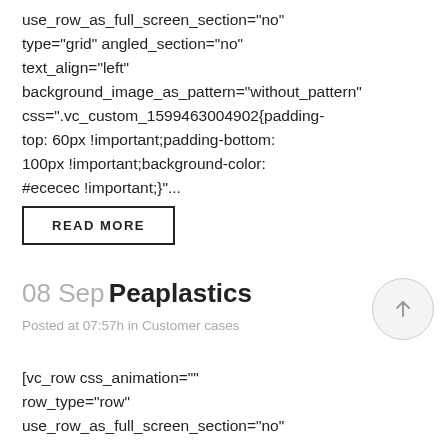use_row_as_full_screen_section="no" type="grid" angled_section="no" text_align="left" background_image_as_pattern="without_pattern" css=".vc_custom_1599463004902{padding-top: 60px !important;padding-bottom: 100px !important;background-color: #ececec !important;}"...
READ MORE
08 Sep Peaplastics
Posted at 07:57h in Customer cases
[vc_row css_animation="" row_type="row" use_row_as_full_screen_section="no"